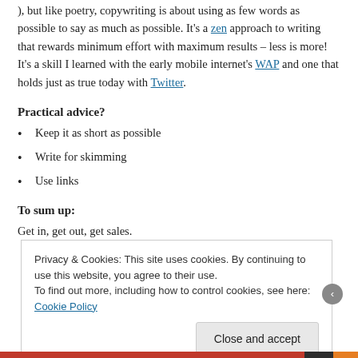), but like poetry, copywriting is about using as few words as possible to say as much as possible. It's a zen approach to writing that rewards minimum effort with maximum results – less is more! It's a skill I learned with the early mobile internet's WAP and one that holds just as true today with Twitter.
Practical advice?
Keep it as short as possible
Write for skimming
Use links
To sum up:
Get in, get out, get sales.
Privacy & Cookies: This site uses cookies. By continuing to use this website, you agree to their use.
To find out more, including how to control cookies, see here: Cookie Policy
Close and accept